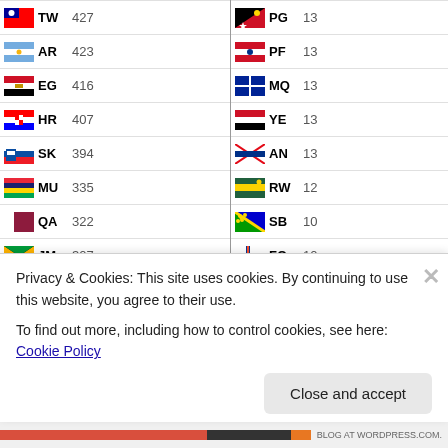| Flag | Code | Count | Flag | Code | Count |
| --- | --- | --- | --- | --- | --- |
| TW | 427 | PG | 13 |
| AR | 423 | PF | 13 |
| EG | 416 | MQ | 13 |
| HR | 407 | YE | 13 |
| SK | 394 | AN | 13 |
| MU | 335 | RW | 12 |
| QA | 322 | SB | 10 |
| JM | 307 | FO | 10 |
| VN | 299 | AF | 10 |
| LB | 296 | KG | 9 |
| RS | 292 | GM | 9 |
| CN | 290 | FK | 9 |
| LT | 252 | TC | 8 |
| KW | 252 | GP | 8 |
| SI | 237 | NI | 8 |
| MA | 237 | HT | 8 |
| EE | 232 | BT | 7 |
| BH | 210 | SX | 7 |
| CO | 196 | IR | 7 |
| NG | 191 | VU | 6 |
| CL | 190 | AX | 6 |
| TU | 186 | CE | 6 |
Privacy & Cookies: This site uses cookies. By continuing to use this website, you agree to their use. To find out more, including how to control cookies, see here: Cookie Policy